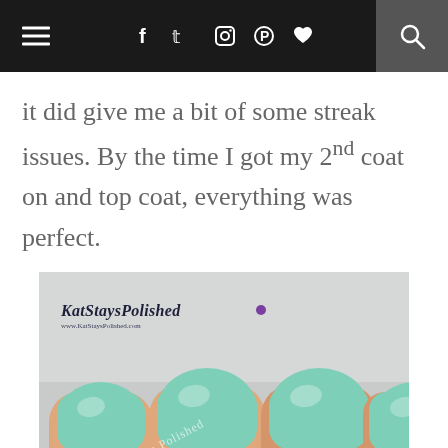Navigation bar with hamburger menu, social icons (Facebook, Twitter, Instagram, Pinterest, heart), and search
it did give me a bit of some streak issues. By the time I got my 2nd coat on and top coat, everything was perfect.
[Figure (photo): Close-up photo of nails painted with a mint/seafoam green nail polish, with KatStaysPolished watermark and a nail polish bottle labeled BARIE SHAD visible in the lower right corner.]